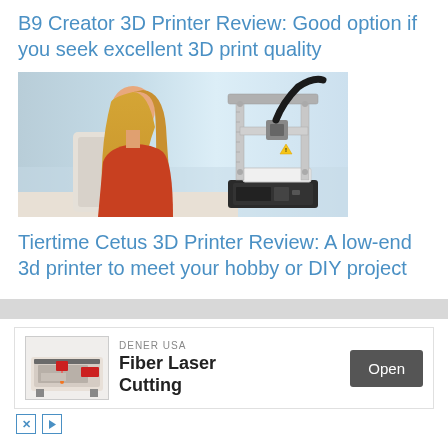B9 Creator 3D Printer Review: Good option if you seek excellent 3D print quality
[Figure (photo): Photo of a woman with blonde hair looking toward a 3D printer (Tiertime Cetus-style compact 3D printer) on a white surface with a bright background]
Tiertime Cetus 3D Printer Review: A low-end 3d printer to meet your hobby or DIY project
[Figure (other): Advertisement banner: DENER USA Fiber Laser Cutting machine image with Open button]